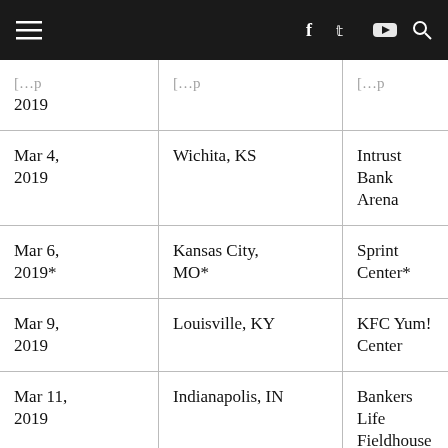Navigation bar with hamburger menu, social icons (f, Twitter, YouTube, search)
| Date | City | Venue |
| --- | --- | --- |
| [partial] 2019 | [partial] | [partial] |
| Mar 4, 2019 | Wichita, KS | Intrust Bank Arena |
| Mar 6, 2019* | Kansas City, MO* | Sprint Center* |
| Mar 9, 2019 | Louisville, KY | KFC Yum! Center |
| Mar 11, 2019 | Indianapolis, IN | Bankers Life Fieldhouse |